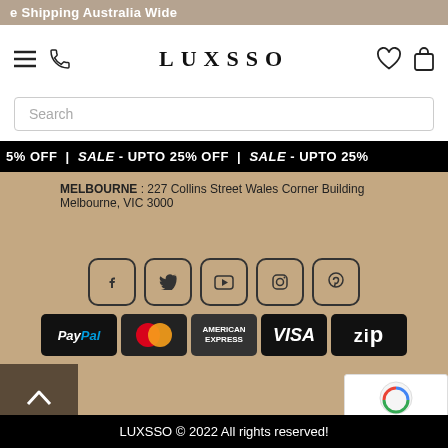e Shipping Australia Wide
[Figure (logo): LUXSSO brand logo with hamburger menu, phone, heart and bag icons]
Search
5% OFF | SALE - UPTO 25% OFF | SALE - UPTO 25%
MELBOURNE : 227 Collins Street Wales Corner Building Melbourne, VIC 3000
[Figure (illustration): Social media icons: Facebook, Twitter, YouTube, Instagram, Pinterest in rounded square outlines]
[Figure (illustration): Payment method icons: PayPal, MasterCard, American Express, VISA, Zip]
LUXSSO © 2022 All rights reserved!